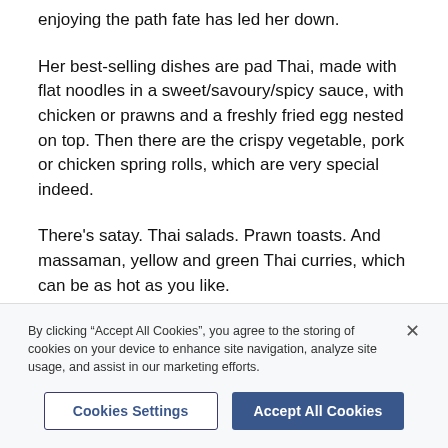enjoying the path fate has led her down.
Her best-selling dishes are pad Thai, made with flat noodles in a sweet/savoury/spicy sauce, with chicken or prawns and a freshly fried egg nested on top. Then there are the crispy vegetable, pork or chicken spring rolls, which are very special indeed.
There’s satay. Thai salads. Prawn toasts. And massaman, yellow and green Thai curries, which can be as hot as you like.
Orders can currently only be made via Jubby’s
By clicking “Accept All Cookies”, you agree to the storing of cookies on your device to enhance site navigation, analyze site usage, and assist in our marketing efforts.